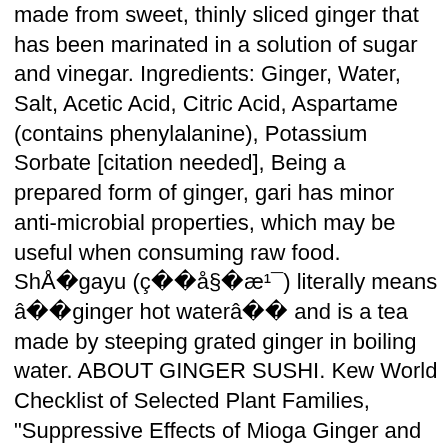made from sweet, thinly sliced ginger that has been marinated in a solution of sugar and vinegar. Ingredients: Ginger, Water, Salt, Acetic Acid, Citric Acid, Aspartame (contains phenylalanine), Potassium Sorbate [citation needed], Being a prepared form of ginger, gari has minor anti-microbial properties, which may be useful when consuming raw food. ShÅgayu (çå§æ¹¯) literally means âginger hot waterâ and is a tea made by steeping grated ginger in boiling water. ABOUT GINGER SUSHI. Kew World Checklist of Selected Plant Families, "Suppressive Effects of Mioga Ginger and Ginger Constituents on Reactive Oxygen and Nitrogen Species Generation, and the Expression of Inducible Pro-Inflammatory Genes in Macrophages,", https://en.wikipedia.org/w/index.php?title=Myoga&oldid=979935894, Articles containing Japanese-language text, Articles with unsourced statements from May 2017, All articles with specifically marked weasel-worded phrases, Articles with specifically marked weasel-worded phrases from March 2016, Taxonbars with automatically added basionyms, Creative Commons Attribution-ShareAlike